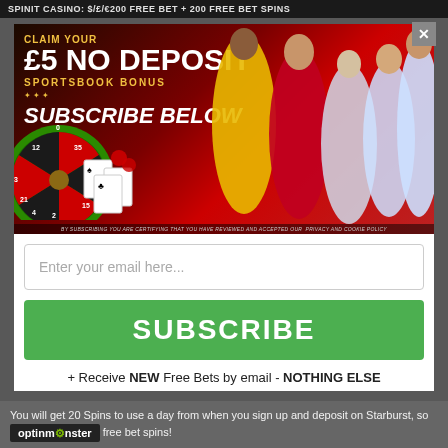SPINIT CASINO: $/£/€200 FREE BET + 200 FREE BET SPINS
[Figure (screenshot): Promotional banner for £5 No Deposit Sportsbook Bonus with football players and roulette wheel imagery. Text reads: CLAIM YOUR £5 NO DEPOSIT SPORTSBOOK BONUS with a gold star divider and SUBSCRIBE BELOW in italic white text. Disclaimer at bottom: BY SUBSCRIBING YOU ARE CERTIFYING THAT YOU HAVE REVIEWED AND ACCEPTED OUR PRIVACY AND COOKIE POLICY]
Enter your email here...
SUBSCRIBE
+ Receive NEW Free Bets by email - NOTHING ELSE
You will get 20 Spins to use a day from when you sign up and deposit on Starburst, so... free bet spins!